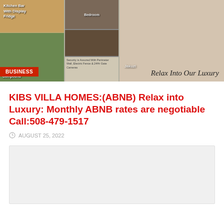[Figure (photo): Collage of villa/ABNB property photos showing kitchen bar, aerial view of compound, bedroom, jacuzzi bathroom, with 'Relax Into Our Luxury' text overlay and a red BUSINESS badge.]
KIBS VILLA HOMES:(ABNB) Relax into Luxury: Monthly ABNB rates are negotiable Call:508-479-1517
AUGUST 25, 2022
[Figure (other): Light gray advertisement placeholder box]